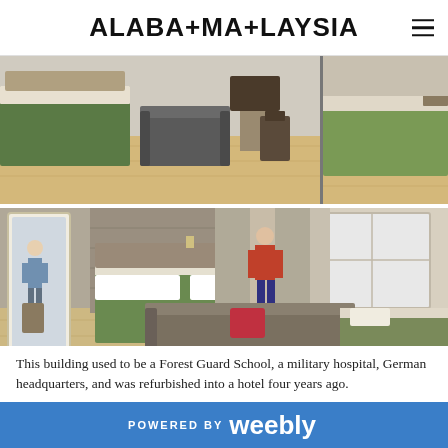ALABA+MA+LAYSIA
[Figure (photo): Hotel room photo collage showing two rows: top row with two images of a hotel room with green bedding, sofa, dining area and luggage; bottom row with a large image of a hotel room showing mirror, double bed with green covers, sofa, and window area with curtains]
This building used to be a Forest Guard School, a military hospital, German headquarters, and was refurbished into a hotel four years ago.
POWERED BY weebly